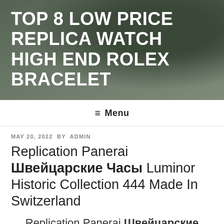TOP 8 LOW PRICE REPLICA WATCH HIGH END ROLEX BRACELET
≡ Menu
MAY 20, 2022 BY ADMIN
Replication Panerai Швейцарские Часы Luminor Historic Collection 444 Made In Switzerland
Replication Panerai Швейцарские Часы Luminor Historic Collection 444 Made In Switzerland